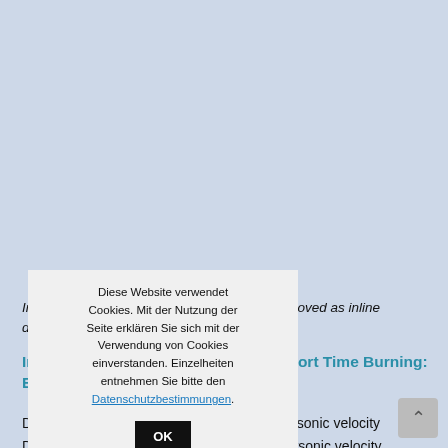Inline detonation flame arresters are also approved as inline deflagration arresters.
Inline Detonation Flame Arrester – Short Time Burning: Explanation
Deflagration  Explosion propagating at subsonic velocity
Detonation  Explosion propagating at supersonic velocity